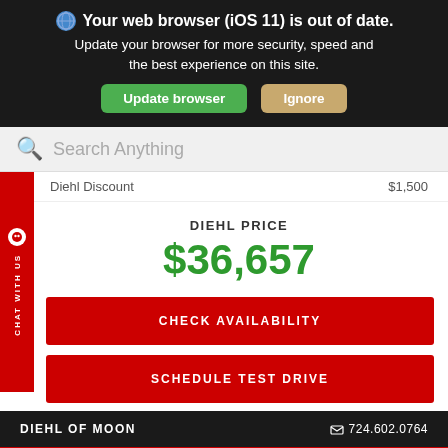Your web browser (iOS 11) is out of date. Update your browser for more security, speed and the best experience on this site. [Update browser] [Ignore]
Search Anything
Diehl Discount    $1,500
DIEHL PRICE
$36,657
CHECK AVAILABILITY
SCHEDULE TEST DRIVE
DIEHL OF MOON     724.602.0764
Filter 464 Results ^